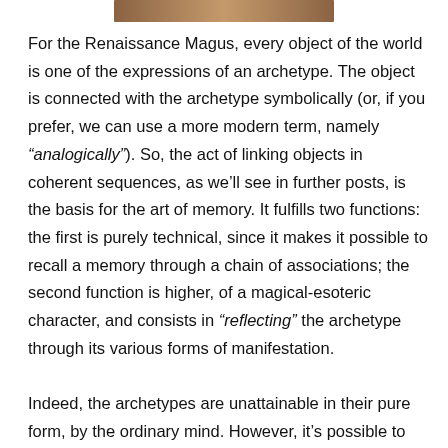[Figure (photo): Cropped image strip at top of page, partially visible]
For the Renaissance Magus, every object of the world is one of the expressions of an archetype. The object is connected with the archetype symbolically (or, if you prefer, we can use a more modern term, namely “analogically”). So, the act of linking objects in coherent sequences, as we’ll see in further posts, is the basis for the art of memory. It fulfills two functions: the first is purely technical, since it makes it possible to recall a memory through a chain of associations; the second function is higher, of a magical-esoteric character, and consists in “reflecting” the archetype through its various forms of manifestation.
Indeed, the archetypes are unattainable in their pure form, by the ordinary mind. However, it’s possible to reascend to them through association, by images, by analogy...